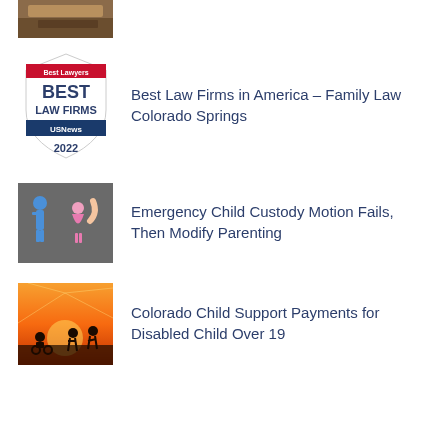[Figure (photo): Partial view of a book or document on a wooden surface, cropped at top]
[Figure (logo): Best Lawyers Best Law Firms U.S. News 2022 badge/seal]
Best Law Firms in America – Family Law Colorado Springs
[Figure (photo): Chalk drawing figures on pavement, person holding a child figure, family custody concept]
Emergency Child Custody Motion Fails, Then Modify Parenting
[Figure (photo): Silhouette of children playing, one in a wheelchair, against a sunset sky]
Colorado Child Support Payments for Disabled Child Over 19